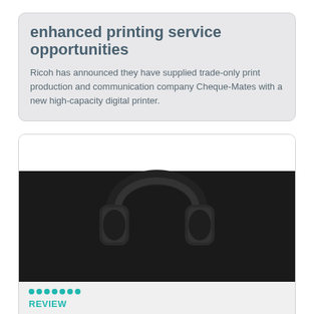enhanced printing service opportunities
Ricoh has announced they have supplied trade-only print production and communication company Cheque-Mates with a new high-capacity digital printer.
[Figure (photo): Black over-ear Jabra Evolve2 75 headphones photographed against a dark background]
REVIEW
Hands-on review: Jabra Evolve2 75